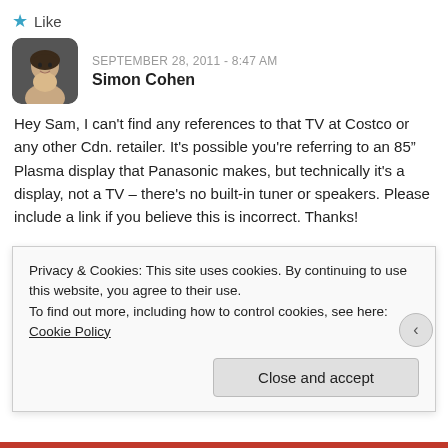★ Like
SEPTEMBER 28, 2011 - 8:47 AM
Simon Cohen
Hey Sam, I can't find any references to that TV at Costco or any other Cdn. retailer. It's possible you're referring to an 85" Plasma display that Panasonic makes, but technically it's a display, not a TV – there's no built-in tuner or speakers. Please include a link if you believe this is incorrect. Thanks!
★ Like
SEPTEMBER 29, 2011 - 11:59 AM
garry
Privacy & Cookies: This site uses cookies. By continuing to use this website, you agree to their use.
To find out more, including how to control cookies, see here: Cookie Policy
Close and accept